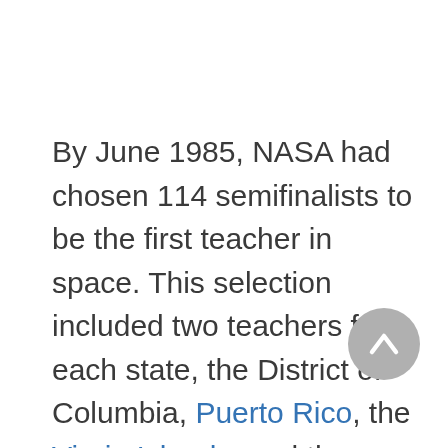By June 1985, NASA had chosen 114 semifinalists to be the first teacher in space. This selection included two teachers from each state, the District of Columbia, Puerto Rico, the Virgin Islands, and the territories and trusts of the United States. These candidates attended a workshop and orientation program in Washington. D.C., in June 1985. Later, a review